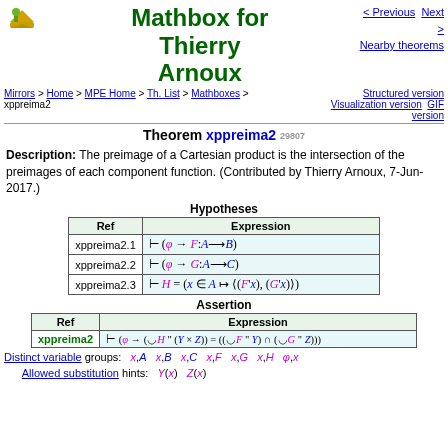Mathbox for Thierry Arnoux
< Previous  Next >  Nearby theorems
Mirrors > Home > MPE Home > Th. List > Mathboxes > xppreima2
Structured version  Visualization version  GIF version
Theorem xppreima2 29807
Description: The preimage of a Cartesian product is the intersection of the preimages of each component function. (Contributed by Thierry Arnoux, 7-Jun-2017.)
Hypotheses
| Ref | Expression |
| --- | --- |
| xppreima2.1 | ⊢ (φ → F:A⟶B) |
| xppreima2.2 | ⊢ (φ → G:A⟶C) |
| xppreima2.3 | ⊢ H = (x ∈ A ↦ ⟨(F'x), (G'x)⟩) |
Assertion
| Ref | Expression |
| --- | --- |
| xppreima2 | ⊢ (φ → (◡H " (Y × Z)) = ((◡F " Y) ∩ (◡G " Z))) |
Distinct variable groups: x,A  x,B  x,C  x,F  x,G  x,H  φ,x
Allowed substitution hints: Y(x)  Z(x)